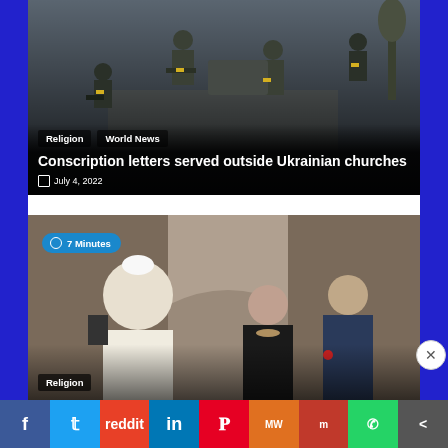[Figure (photo): Soldiers in military gear and body armor at a road, with yellow armbands visible. Dark overlay at bottom.]
Religion
World News
Conscription letters served outside Ukrainian churches
July 4, 2022
[Figure (photo): Pope Francis greeting a woman and man in formal attire in an ornate hall. Blue badge reading 7 Minutes visible top left.]
Religion
Advertisements